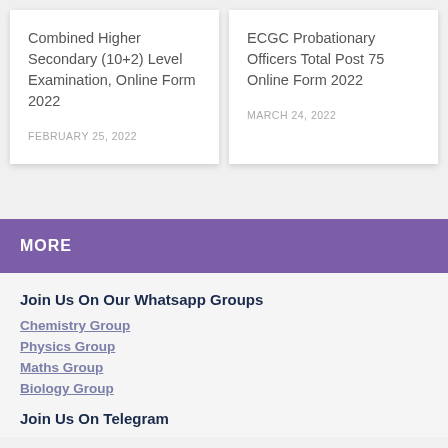Combined Higher Secondary (10+2) Level Examination, Online Form 2022
FEBRUARY 25, 2022
ECGC Probationary Officers Total Post 75 Online Form 2022
MARCH 24, 2022
MORE
Join Us On Our Whatsapp Groups
Chemistry Group
Physics Group
Maths Group
Biology Group
Join Us On Telegram